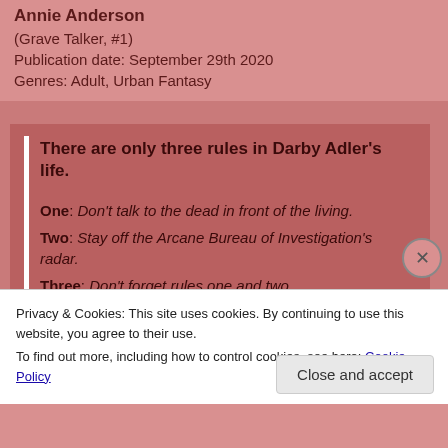Annie Anderson
(Grave Talker, #1)
Publication date: September 29th 2020
Genres: Adult, Urban Fantasy
There are only three rules in Darby Adler’s life. One: Don’t talk to the dead in front of the living. Two: Stay off the Arcane Bureau of Investigation’s radar. Three: Don’t forget rules one and two.
Privacy & Cookies: This site uses cookies. By continuing to use this website, you agree to their use.
To find out more, including how to control cookies, see here: Cookie Policy
Close and accept